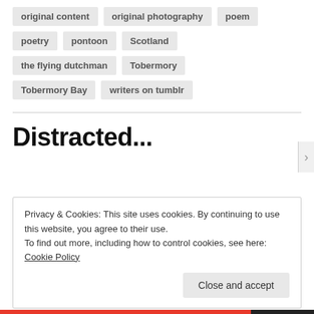original content
original photography
poem
poetry
pontoon
Scotland
the flying dutchman
Tobermory
Tobermory Bay
writers on tumblr
Distracted...
Privacy & Cookies: This site uses cookies. By continuing to use this website, you agree to their use.
To find out more, including how to control cookies, see here: Cookie Policy